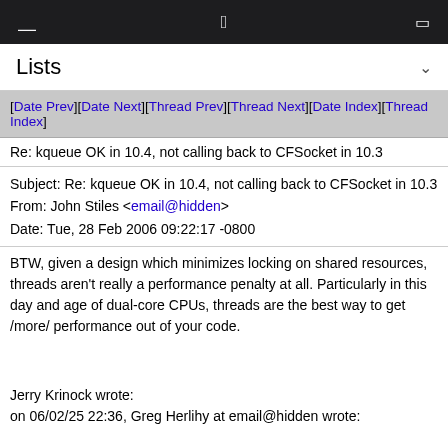Lists
[Date Prev][Date Next][Thread Prev][Thread Next][Date Index][Thread Index]
Re: kqueue OK in 10.4, not calling back to CFSocket in 10.3
Subject: Re: kqueue OK in 10.4, not calling back to CFSocket in 10.3
From: John Stiles <email@hidden>
Date: Tue, 28 Feb 2006 09:22:17 -0800
BTW, given a design which minimizes locking on shared resources, threads aren't really a performance penalty at all. Particularly in this day and age of dual-core CPUs, threads are the best way to get /more/ performance out of your code.
Jerry Krinock wrote:
on 06/02/25 22:36, Greg Herlihy at email@hidden wrote:
I have one suggestion although I give it little chance of fixing